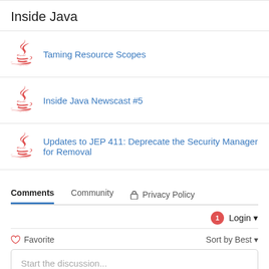Inside Java
Taming Resource Scopes
Inside Java Newscast #5
Updates to JEP 411: Deprecate the Security Manager for Removal
Comments  Community  Privacy Policy
Login
Favorite  Sort by Best
Start the discussion...